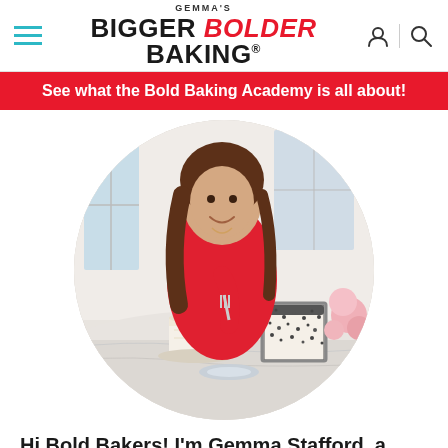GEMMA'S BIGGER BOLDER BAKING®
See what the Bold Baking Academy is all about!
[Figure (photo): Circular cropped photo of Gemma Stafford, a woman in a red outfit, smiling and holding a fork, seated at a marble table with cake slices and pink flowers]
Hi Bold Bakers! I'm Gemma Stafford, a professional chef originally from Ireland, a cookbook author, and the creator of Bigger Bolder Baking. I want to help you...